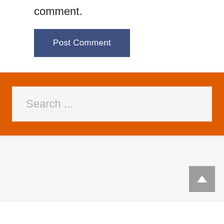comment.
Post Comment
[Figure (screenshot): Orange search widget section with a search input box containing placeholder text 'Search ...']
[Figure (other): Gray back-to-top button with upward arrow in bottom-right corner of a light gray footer area]